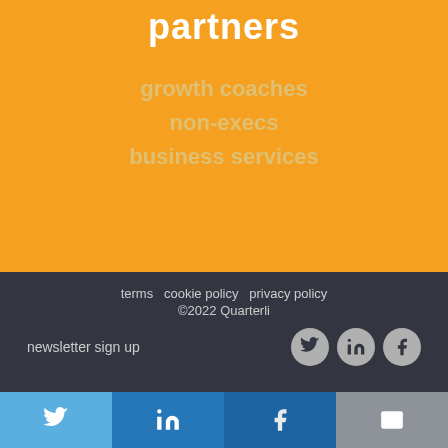partners
growth coaches
non-execs
business services
terms   cookie policy   privacy policy
©2022 Quarterli
newsletter sign up
[Figure (infographic): Three circular social media icons: Twitter, LinkedIn, Facebook on dark background]
[Figure (infographic): Share bar with four buttons: Twitter (light blue), LinkedIn (blue), Facebook (blue), Email (grey)]